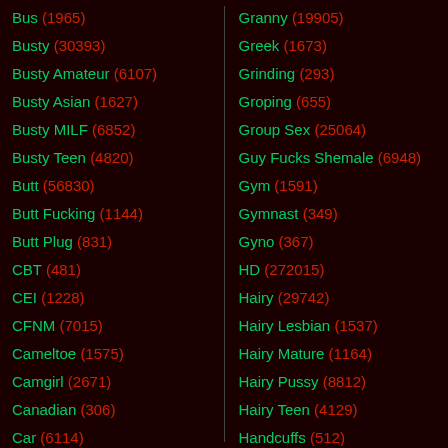Bus (1965)
Busty (30393)
Busty Amateur (6107)
Busty Asian (1627)
Busty MILF (6852)
Busty Teen (4820)
Butt (56830)
Butt Fucking (1144)
Butt Plug (831)
CBT (481)
CEI (1228)
CFNM (7015)
Cameltoe (1575)
Camgirl (2671)
Canadian (306)
Car (6114)
Granny (19905)
Greek (1673)
Grinding (293)
Groping (655)
Group Sex (25064)
Guy Fucks Shemale (6948)
Gym (1591)
Gymnast (349)
Gyno (367)
HD (272015)
Hairy (29742)
Hairy Lesbian (1537)
Hairy Mature (1164)
Hairy Pussy (8812)
Hairy Teen (4129)
Handcuffs (512)